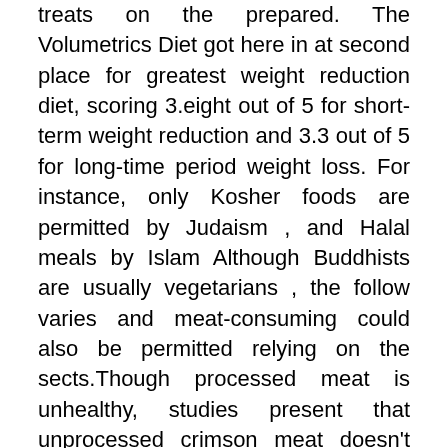treats on the prepared. The Volumetrics Diet got here in at second place for greatest weight reduction diet, scoring 3.eight out of 5 for short-term weight reduction and 3.3 out of 5 for long-time period weight loss. For instance, only Kosher foods are permitted by Judaism , and Halal meals by Islam Although Buddhists are usually vegetarians , the follow varies and meat-consuming could also be permitted relying on the sects.Though processed meat is unhealthy, studies present that unprocessed crimson meat doesn't elevate the danger of coronary heart illness or diabetes ( 12 , thirteen ). From an evolutionary perspective consuming pastured eggs would possibly extra carefully match the